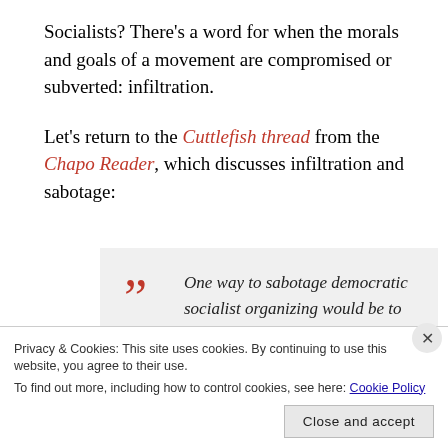Socialists? There's a word for when the morals and goals of a movement are compromised or subverted: infiltration.
Let's return to the Cuttlefish thread from the Chapo Reader, which discusses infiltration and sabotage:
One way to sabotage democratic socialist organizing would be to prevent the most oppressed (the ones
Privacy & Cookies: This site uses cookies. By continuing to use this website, you agree to their use. To find out more, including how to control cookies, see here: Cookie Policy